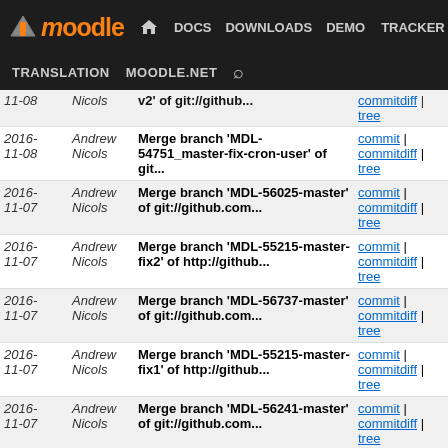moodle | DOCS | DOWNLOADS | DEMO | TRACKER | DEV | TRANSLATION | MOODLE.NET
| Date | Author | Message | Links |
| --- | --- | --- | --- |
| 2016-11-08 | Nicols | v2' of git://github... | commitdiff | tree |
| 2016-11-08 | Andrew Nicols | Merge branch 'MDL-54751_master-fix-cron-user' of git... | commit | commitdiff | tree |
| 2016-11-07 | Andrew Nicols | Merge branch 'MDL-56025-master' of git://github.com... | commit | commitdiff | tree |
| 2016-11-07 | Andrew Nicols | Merge branch 'MDL-55215-master-fix2' of http://github... | commit | commitdiff | tree |
| 2016-11-07 | Andrew Nicols | Merge branch 'MDL-56737-master' of git://github.com... | commit | commitdiff | tree |
| 2016-11-07 | Andrew Nicols | Merge branch 'MDL-55215-master-fix1' of http://github... | commit | commitdiff | tree |
| 2016-11-07 | Andrew Nicols | Merge branch 'MDL-56241-master' of git://github.com... | commit | commitdiff | tree |
| 2016-11-07 | Andrew Nicols | MDL-55215 forms: Rename searchableselector params | commit | commitdiff | tree |
| 2016-11-07 | Andrew Nicols | Merge branch 'MDL-55215-master' of git://github.com... | commit | commitdiff | tree |
| 2016-11-04 | Andrew Nicols | Merge branch 'MDL-56673-master-fix1' of http://github... | commit | commitdiff | tree |
| 2016- | Andrew | MDL-56748 cache: Removes cache | commit |